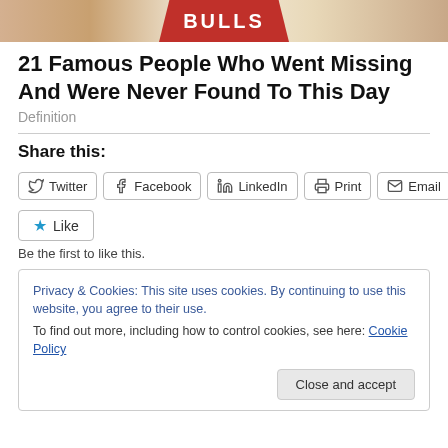[Figure (photo): Cropped photo showing a person wearing a red and white basketball jersey (Bulls), only the torso visible]
21 Famous People Who Went Missing And Were Never Found To This Day
Definition
Share this:
Twitter Facebook LinkedIn Print Email
Like
Be the first to like this.
Privacy & Cookies: This site uses cookies. By continuing to use this website, you agree to their use.
To find out more, including how to control cookies, see here: Cookie Policy
Close and accept